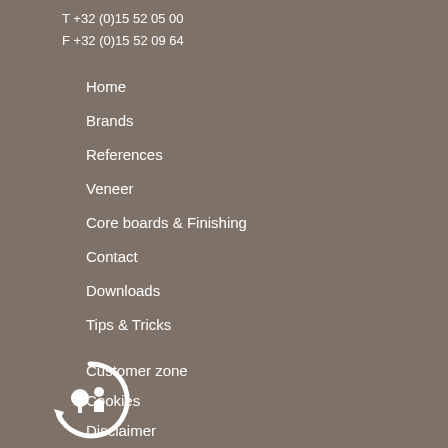T +32 (0)15 52 05 00
F +32 (0)15 52 09 64
Home
Brands
References
Veneer
Core boards & Finishing
Contact
Downloads
Tips & Tricks
Customer zone
Cookies
Disclaimer
Privacy
[Figure (logo): Circular logo with tree and person icons and arrow, white on grey background]